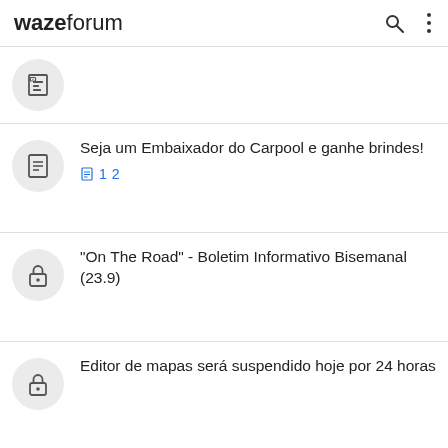waze forum
Seja um Embaixador do Carpool e ganhe brindes!
"On The Road" - Boletim Informativo Bisemanal (23.9)
Editor de mapas será suspendido hoje por 24 horas
Waze 2.0.2.3 BETA para Android